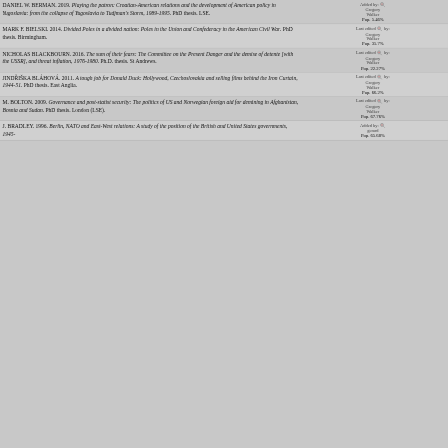DANIEL W. BERMAN. 2019. Playing the patron: Croatian-American relations and the development of American policy in Yugoslavia: from the collapse of Yugoslavia to Tudjman's Storm, 1989-1995. PhD thesis. LSE. | Added by: Gregory Walker | Pop. 5.46%
MARK F. BIELSKI. 2014. Divided Poles in a divided nation: Poles in the Union and Confederacy in the American Civil War. PhD thesis. Birmingham. | Last edited by: Gregory Walker | Pop. 35.7%
NICHOLAS BLACKBOURN. 2016. The sum of their fears: The Committee on the Present Danger and the demise of detente [with the USSR], and threat inflation, 1976-1980. Ph.D. thesis. St Andrews. | Last edited by: Gregory Walker | Pop. 22.27%
JINDŘIŠKA BLÁHOVÁ. 2011. A tough job for Donald Duck: Hollywood, Czechoslovakia and selling films behind the Iron Curtain, 1944-51. PhD thesis. East Anglia. | Last edited by: Gregory Walker | Pop. 66.2%
M. BOLTON. 2009. Governance and post-statist security: The politics of US and Norwegian foreign aid for demining in Afghanistan, Bosnia and Sudan. PhD thesis. London (LSE). | Last edited by: Gregory Walker | Pop. 67.76%
J. BRADLEY. 1996. Berlin, NATO and East-West relations: A study of the position of the British and United States governments, 1945- | Added by: gerard | Pop. 65.68%